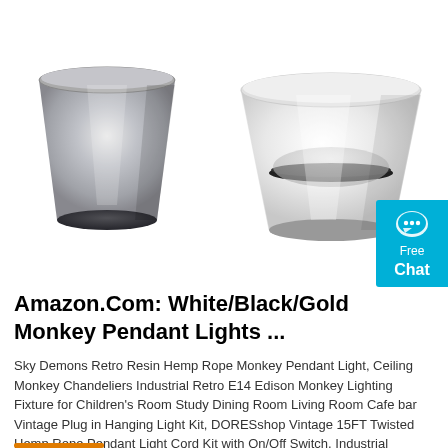[Figure (photo): Two lamp shade / pendant light reflectors side by side. Left: a silver/metallic truncated cone shade (top wider, bottom narrower opening). Right: a white truncated cone shade with a dark inner ring visible.]
[Figure (other): Teal/cyan chat button widget with speech bubble icon, text 'Free Chat']
Amazon.Com: White/Black/Gold Monkey Pendant Lights ...
Sky Demons Retro Resin Hemp Rope Monkey Pendant Light, Ceiling Monkey Chandeliers Industrial Retro E14 Edison Monkey Lighting Fixture for Children's Room Study Dining Room Living Room Cafe bar Vintage Plug in Hanging Light Kit, DORESshop Vintage 15FT Twisted Hemp Rope Pendant Light Cord Kit with On/Off Switch, Industrial Pendant Lighting E26 Socket for …